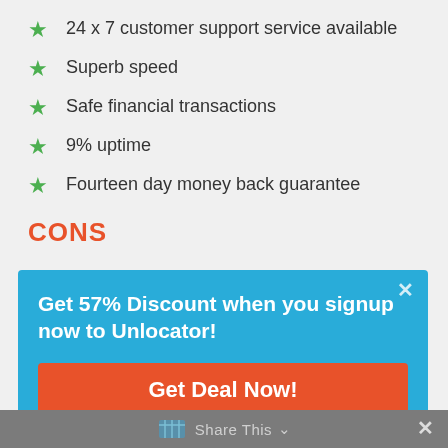24 x 7 customer support service available
Superb speed
Safe financial transactions
9% uptime
Fourteen day money back guarantee
CONS
[Figure (infographic): Popup banner with blue background. Text: 'Get 57% Discount when you signup now to Unlocator!' with an orange 'Get Deal Now!' button and a close X icon.]
Share This